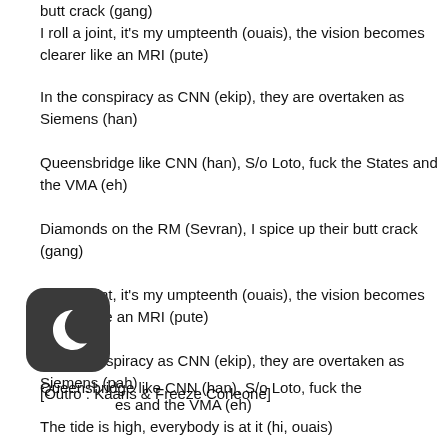butt crack (gang)
I roll a joint, it's my umpteenth (ouais), the vision becomes clearer like an MRI (pute)
In the conspiracy as CNN (ekip), they are overtaken as Siemens (han)
Queensbridge like CNN (han), S/o Loto, fuck the States and the VMA (eh)
Diamonds on the RM (Sevran), I spice up their butt crack (gang)
I roll a joint, it's my umpteenth (ouais), the vision becomes clearer like an MRI (pute)
In the conspiracy as CNN (ekip), they are overtaken as Siemens (pah)
Queensbridge like CNN (han), S/o Loto, fuck the States and the VMA (eh)
[Figure (illustration): Dark rounded square icon with a crescent moon symbol, representing a night mode or dark mode button]
[Outro : Kaaris & Freeze Corleone]
The tide is high, everybody is at it (hi, ouais)